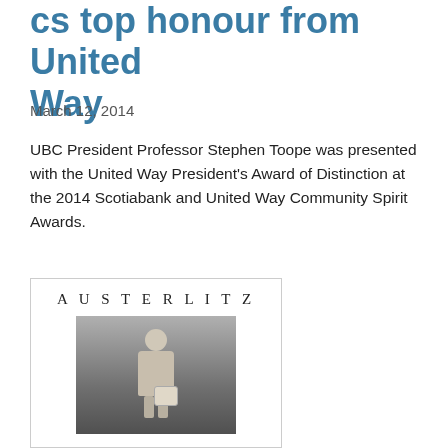cs top honour from United Way
March 12, 2014
UBC President Professor Stephen Toope was presented with the United Way President's Award of Distinction at the 2014 Scotiabank and United Way Community Spirit Awards.
[Figure (photo): Book cover of 'Austerlitz' showing a black-and-white photograph of a young child standing in a field, holding what appears to be a bag or bundle. The word AUSTERLITZ appears at the top in spaced capital letters.]